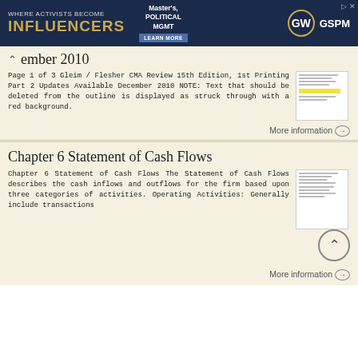[Figure (other): GW GSPM advertisement banner: WHERE ACTIVISTS BECOME INFLUENCERS, Master's Political Mgmt, GW GSPM logo, Learn More button]
ember 2010
Page 1 of 3 Gleim / Flesher CMA Review 15th Edition, 1st Printing Part 2 Updates Available December 2010 NOTE: Text that should be deleted from the outline is displayed as struck through with a red background.
More information →
Chapter 6 Statement of Cash Flows
Chapter 6 Statement of Cash Flows The Statement of Cash Flows describes the cash inflows and outflows for the firm based upon three categories of activities. Operating Activities: Generally include transactions
More information →